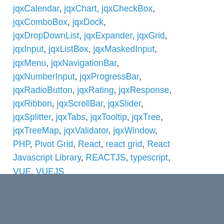jqxCalendar, jqxChart, jqxCheckBox, jqxComboBox, jqxDock, jqxDropDownList, jqxExpander, jqxGrid, jqxInput, jqxListBox, jqxMaskedInput, jqxMenu, jqxNavigationBar, jqxNumberInput, jqxProgressBar, jqxRadioButton, jqxRating, jqxResponse, jqxRibbon, jqxScrollBar, jqxSlider, jqxSplitter, jqxTabs, jqxTooltip, jqxTree, jqxTreeMap, jqxValidator, jqxWindow, PHP, Pivot Grid, React, react grid, React Javascript Library, REACTJS, typescript, VUE, VUEJS
Leave a comment